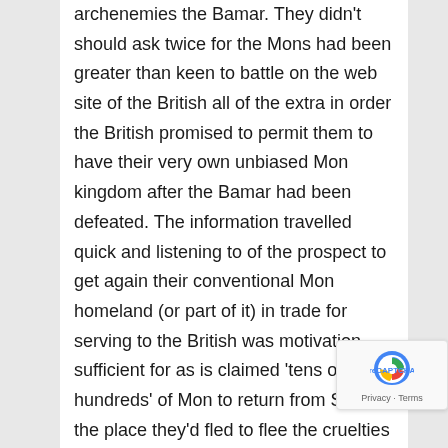archenemies the Bamar. They didn't should ask twice for the Mons had been greater than keen to battle on the web site of the British all of the extra in order the British promised to permit them to have their very own unbiased Mon kingdom after the Bamar had been defeated. The information travelled quick and listening to of the prospect to get again their conventional Mon homeland (or part of it) in trade for serving to the British was motivation sufficient for as is claimed 'tens of hundreds' of Mon to return from Siam to the place they'd fled to flee the cruelties of the Bamar.Though the British had liberated the Mon from the Bamar/Burmans tyranny (a truth the significance of which shouldn't be underestimated) and the Mon had